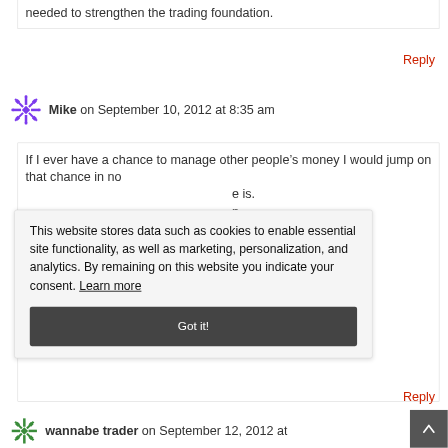needed to strengthen the trading foundation.
Reply
Mike on September 10, 2012 at 8:35 am
If I ever have a chance to manage other people’s money I would jump on that chance in no [time. The experience is.] [This is a n...] [...s.] [...p!]
This website stores data such as cookies to enable essential site functionality, as well as marketing, personalization, and analytics. By remaining on this website you indicate your consent. Learn more
Got it!
Reply
wannabe trader on September 12, 2012 at